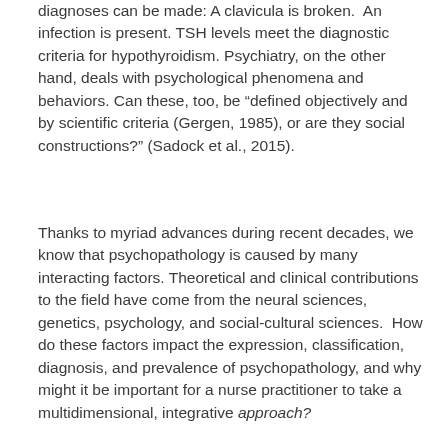diagnoses can be made: A clavicula is broken. An infection is present. TSH levels meet the diagnostic criteria for hypothyroidism. Psychiatry, on the other hand, deals with psychological phenomena and behaviors. Can these, too, be “defined objectively and by scientific criteria (Gergen, 1985), or are they social constructions?” (Sadock et al., 2015).
Thanks to myriad advances during recent decades, we know that psychopathology is caused by many interacting factors. Theoretical and clinical contributions to the field have come from the neural sciences, genetics, psychology, and social-cultural sciences.  How do these factors impact the expression, classification, diagnosis, and prevalence of psychopathology, and why might it be important for a nurse practitioner to take a multidimensional, integrative approach?